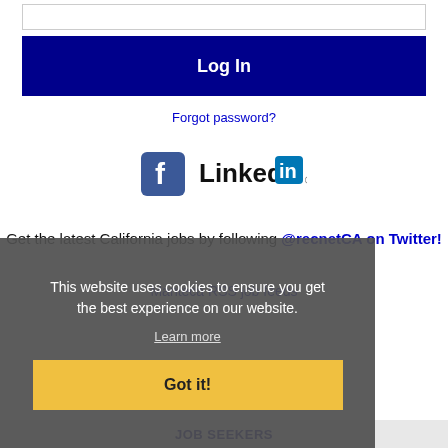[Figure (screenshot): Input text field (password or email input box)]
Log In
Forgot password?
[Figure (illustration): Facebook and LinkedIn social media icons side by side]
Get the latest California jobs by following @recnetCA on Twitter!
Manteca RSS job feeds
This website uses cookies to ensure you get the best experience on our website.
Learn more
Got it!
JOB SEEKERS